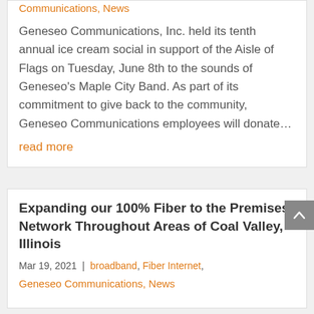Communications, News
Geneseo Communications, Inc. held its tenth annual ice cream social in support of the Aisle of Flags on Tuesday, June 8th to the sounds of Geneseo's Maple City Band. As part of its commitment to give back to the community, Geneseo Communications employees will donate…
read more
Expanding our 100% Fiber to the Premises Network Throughout Areas of Coal Valley, Illinois
Mar 19, 2021 | broadband, Fiber Internet, Geneseo Communications, News